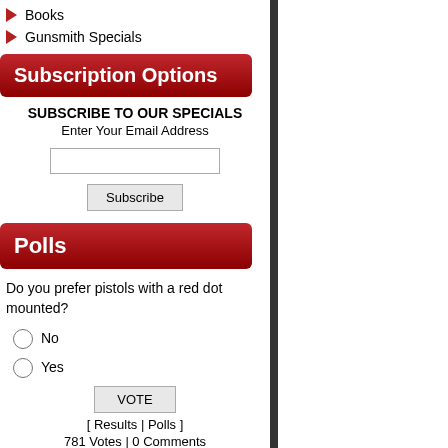Books
Gunsmith Specials
Subscription Options
SUBSCRIBE TO OUR SPECIALS
Enter Your Email Address
Polls
Do you prefer pistols with a red dot mounted?
No
Yes
[ Results | Polls ]
781 Votes | 0 Comments
Information